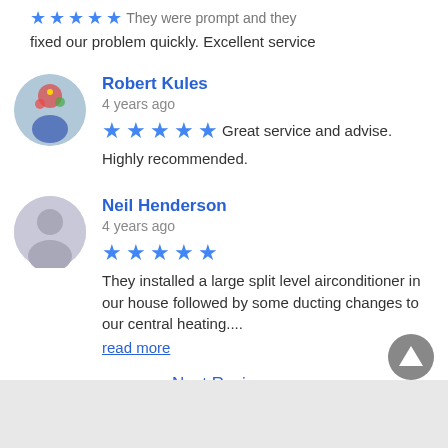fixed our problem quickly. Excellent service
Robert Kules
4 years ago
★★★★★ Great service and advise. Highly recommended.
Neil Henderson
4 years ago
★★★★★ They installed a large split level airconditioner in our house followed by some ducting changes to our central heating.... read more
Next Reviews